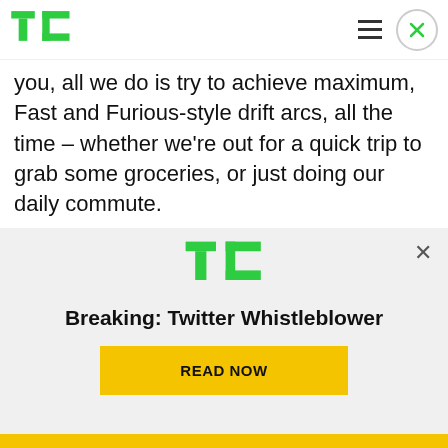TechCrunch logo, hamburger menu, close button
you, all we do is try to achieve maximum, Fast and Furious-style drift arcs, all the time – whether we're out for a quick trip to grab some groceries, or just doing our daily commute.
No but really this looks super fun, and yet also under control (at the hands of experts, of course), which is right in keeping with Lucid's pitch that the
[Figure (logo): TechCrunch TC logo in green]
Breaking: Twitter Whistleblower
READ NOW